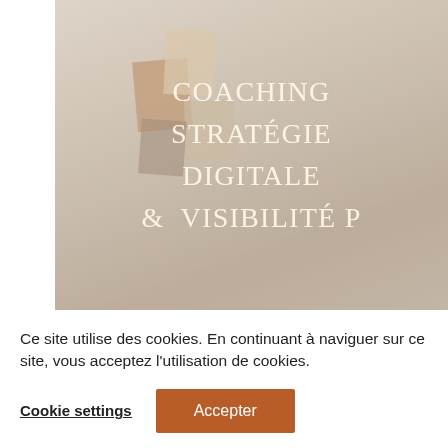[Figure (photo): A light, airy styled desk/mood board photo with a white background, decorative color swatches (terracotta, beige, taupe), dried palm leaves, and glass and ceramic vases. Overlaid with text reading: COACHING / STRATÉGIE / DIGITALE / & VISIBILITÉ P in white serif letters.]
Ce site utilise des cookies. En continuant à naviguer sur ce site, vous acceptez l'utilisation de cookies.
Cookie settings
Accepter